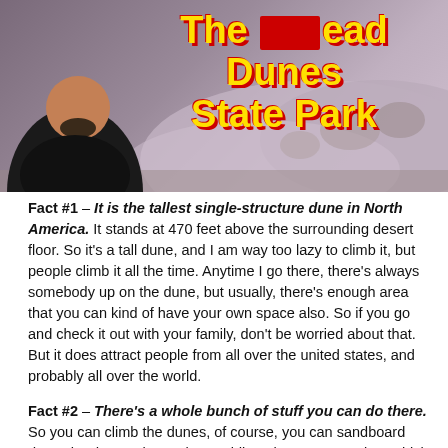[Figure (photo): YouTube thumbnail image showing a man in a black shirt with text 'The [redacted] Dead Dunes State Park' in yellow bold lettering on a background of dunes/desert landscape.]
Fact #1 – It is the tallest single-structure dune in North America. It stands at 470 feet above the surrounding desert floor. So it's a tall dune, and I am way too lazy to climb it, but people climb it all the time. Anytime I go there, there's always somebody up on the dune, but usually, there's enough area that you can kind of have your own space also. So if you go and check it out with your family, don't be worried about that. But it does attract people from all over the united states, and probably all over the world.
Fact #2 – There's a whole bunch of stuff you can do there. So you can climb the dunes, of course, you can sandboard down the dunes, there's horse riding, there's stargazing, which will lead to another fact. You can go boating from there, fishing from there, so it's conveniently located right by the snake river; just a